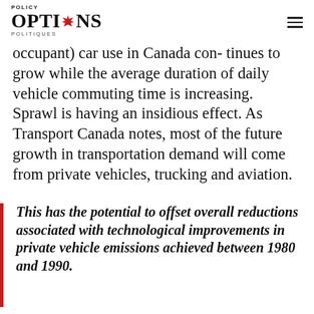Policy Options Politiques
occupant) car use in Canada continues to grow while the average duration of daily vehicle commuting time is increasing. Sprawl is having an insidious effect. As Transport Canada notes, most of the future growth in transportation demand will come from private vehicles, trucking and aviation.
This has the potential to offset overall reductions associated with technological improvements in private vehicle emissions achieved between 1980 and 1990.